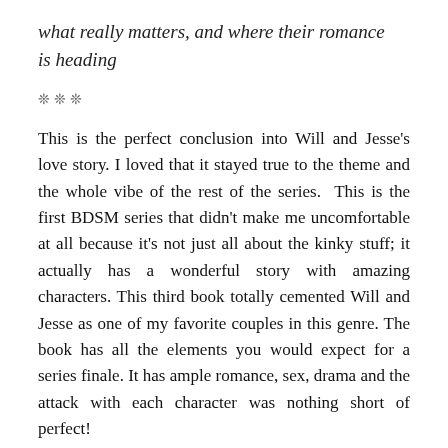what really matters, and where their romance is heading
❊❊❊
This is the perfect conclusion into Will and Jesse's love story. I loved that it stayed true to the theme and the whole vibe of the rest of the series.  This is the first BDSM series that didn't make me uncomfortable at all because it's not just all about the kinky stuff; it actually has a wonderful story with amazing characters. This third book totally cemented Will and Jesse as one of my favorite couples in this genre. The book has all the elements you would expect for a series finale. It has ample romance, sex, drama and the attack with each character was nothing short of perfect!